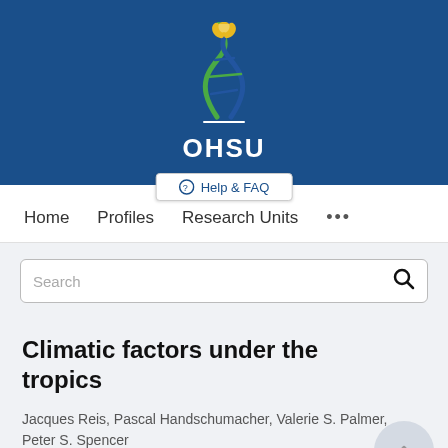[Figure (logo): OHSU (Oregon Health & Science University) logo with DNA helix and flame graphic on blue background, with Help & FAQ button overlay]
Home   Profiles   Research Units   ...
Search
Climatic factors under the tropics
Jacques Reis, Pascal Handschumacher, Valerie S. Palmer, Peter S. Spencer